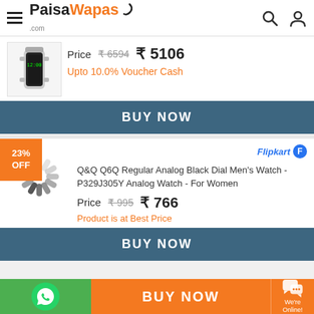PaisaWapas.com
Price ₹6594 ₹5106
Upto 10.0% Voucher Cash
BUY NOW
23% OFF
Q&Q Q6Q Regular Analog Black Dial Men's Watch - P329J305Y Analog Watch - For Women
Price ₹995 ₹766
Product is at Best Price
BUY NOW
BUY NOW
We're Online!